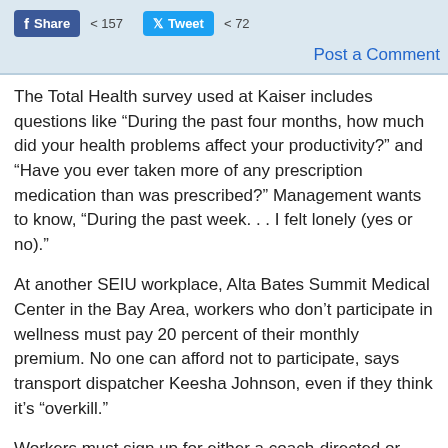Share 157 Tweet 72
Post a Comment
The Total Health survey used at Kaiser includes questions like “During the past four months, how much did your health problems affect your productivity?” and “Have you ever taken more of any prescription medication than was prescribed?” Management wants to know, “During the past week. . . I felt lonely (yes or no).”
At another SEIU workplace, Alta Bates Summit Medical Center in the Bay Area, workers who don’t participate in wellness must pay 20 percent of their monthly premium. No one can afford not to participate, says transport dispatcher Keesha Johnson, even if they think it’s “overkill.”
Workers must sign up for either a coach-directed or physician-directed program, and they receive points for such activities as blood pressure fairs, she said.
“The ironic thing,” Johnson said, “is that most of my stress is